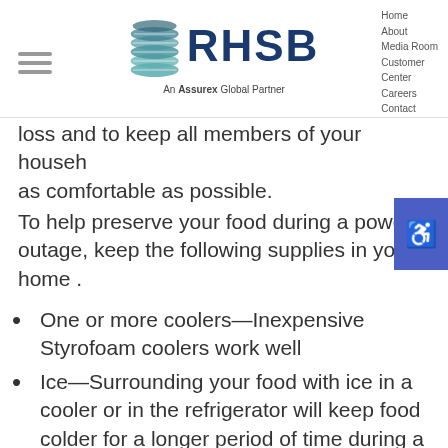RHSB — An Assurex Global Partner | Home | About | Media Room | Customer Center | Careers | Contact
loss and to keep all members of your household as comfortable as possible.
To help preserve your food during a power outage, keep the following supplies in your home .
One or more coolers—Inexpensive Styrofoam coolers work well
Ice—Surrounding your food with ice in a cooler or in the refrigerator will keep food colder for a longer period of time during a prolonged power outage